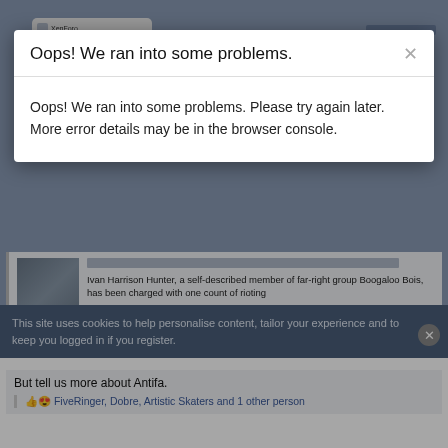[Figure (screenshot): Browser top chrome with tab]
Ivan Harrison Hunter, a self-described member of far-right group Boogaloo Bois, has been charged with one count of rioting
www.cbsnews.com
But tell us more about Antifa.
👍😍 FiveRinger, Dobre, Artistic Skaters and 1 other person
Oops! We ran into some problems.
Oops! We ran into some problems. Please try again later. More error details may be in the browser console.
This site uses cookies to help personalise content, tailor your experience and to keep you logged in if you register.